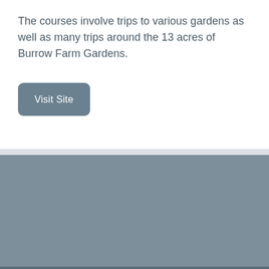The courses involve trips to various gardens as well as many trips around the 13 acres of Burrow Farm Gardens.
[Figure (other): A rounded rectangle button labeled 'Visit Site' with a steel-blue/slate background and white text.]
[Figure (other): A large steel-blue/slate colored footer block taking up the lower portion of the page.]